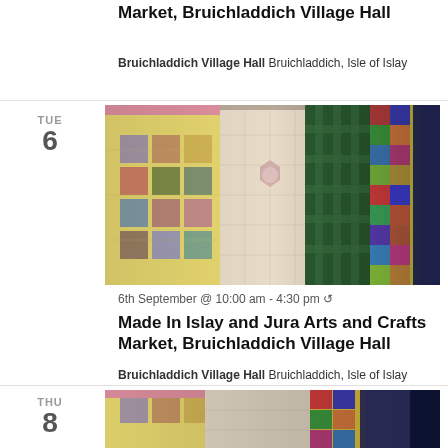Market, Bruichladdich Village Hall
Bruichladdich Village Hall Bruichladdich, Isle of Islay
TUE 6
[Figure (photo): Colorful patchwork quilts displayed hanging in a row at an arts and crafts market]
6th September @ 10:00 am - 4:30 pm ↺
Made In Islay and Jura Arts and Crafts Market, Bruichladdich Village Hall
Bruichladdich Village Hall Bruichladdich, Isle of Islay
THU 8
[Figure (photo): Colorful patchwork quilts displayed at arts and crafts market, partial view]